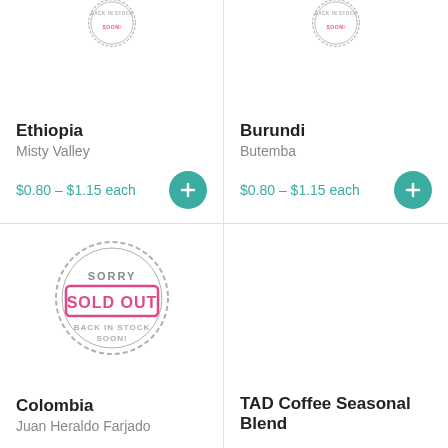[Figure (illustration): Back In Stock Soon stamp badge, partially cropped at top]
Ethiopia
Misty Valley
$0.80 – $1.15 each
[Figure (illustration): Back In Stock Soon stamp badge, partially cropped at top]
Burundi
Butemba
$0.80 – $1.15 each
[Figure (illustration): Sorry Sold Out – Back In Stock Soon stamp badge]
Colombia
Juan Heraldo Farjado
TAD Coffee Seasonal Blend